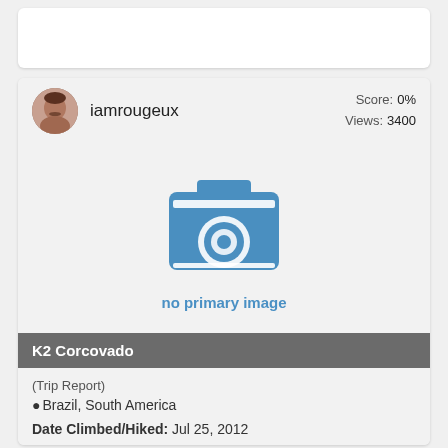[Figure (screenshot): Top white card placeholder area]
[Figure (photo): User avatar photo of iamrougeux showing a man with mustache]
iamrougeux
Score: 0%
Views: 3400
[Figure (illustration): Camera icon placeholder for no primary image]
no primary image
K2 Corcovado
(Trip Report)
Brazil, South America
Date Climbed/Hiked: Jul 25, 2012